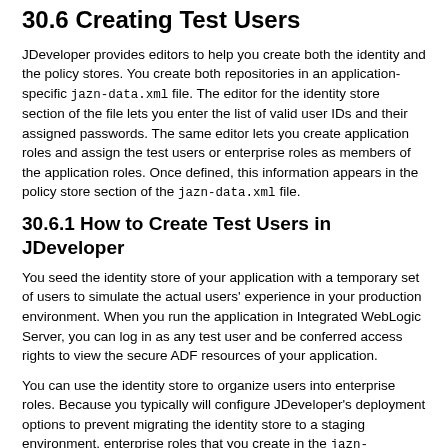30.6 Creating Test Users
JDeveloper provides editors to help you create both the identity and the policy stores. You create both repositories in an application-specific jazn-data.xml file. The editor for the identity store section of the file lets you enter the list of valid user IDs and their assigned passwords. The same editor lets you create application roles and assign the test users or enterprise roles as members of the application roles. Once defined, this information appears in the policy store section of the jazn-data.xml file.
30.6.1 How to Create Test Users in JDeveloper
You seed the identity store of your application with a temporary set of users to simulate the actual users' experience in your production environment. When you run the application in Integrated WebLogic Server, you can log in as any test user and be conferred access rights to view the secure ADF resources of your application.
You can use the identity store to organize users into enterprise roles. Because you typically will configure JDeveloper's deployment options to prevent migrating the identity store to a staging environment, enterprise roles that you create in the jazn-data.xml file are for convenience only. For more details about the use of enterprise roles, see Section 30.4.3, "What You May Need to Know About Enterprise Roles and Application